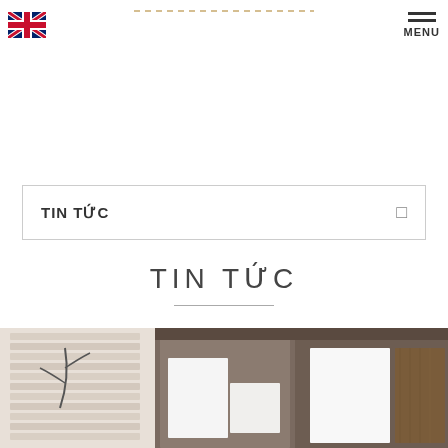[Figure (logo): Dashed/dotted logo text at top center of page header]
[Figure (illustration): UK/British flag icon in top left corner]
MENU
TIN TỨC
TIN TỨC
[Figure (photo): Interior furniture photo showing dark wood shelving unit/wardrobe with white panels and wooden blinds in background]